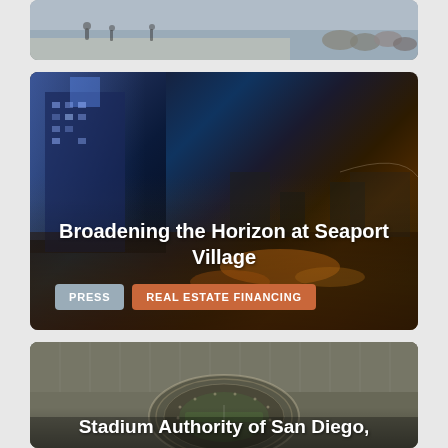[Figure (photo): Top partial card showing a waterfront/beach scene with people walking, rocks visible on the right side, and a path along the water. The image is cropped at the top of the page.]
Broadening the Horizon at Seaport Village
PRESS
REAL ESTATE FINANCING
[Figure (photo): Middle card showing a nighttime cityscape with illuminated buildings on the left and reflections of warm orange/amber lights on water in the lower portion.]
[Figure (photo): Bottom partial card showing an aerial view of a stadium (likely a football stadium) in San Diego surrounded by parking lots and urban environment.]
Stadium Authority of San Diego,